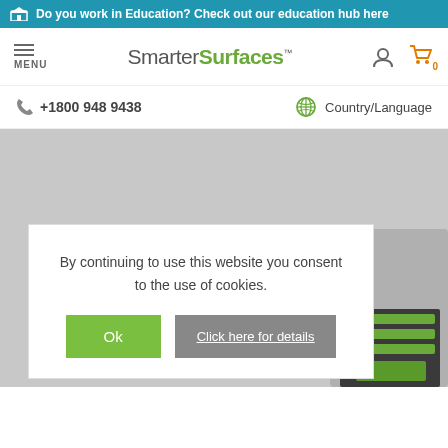Do you work in Education? Check out our education hub here
MENU  SmarterSurfaces™  (user icon)  (cart icon) 0
+1800 948 9438
Country/Language
[Figure (screenshot): Product image showing Smarter Surfaces product packaging with green branding, partially visible behind cookie consent overlay]
By continuing to use this website you consent to the use of cookies.
Ok  Click here for details